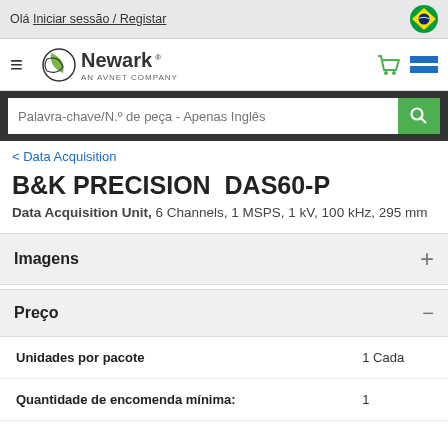Olá Iniciar sessão / Registar
[Figure (logo): Newark - An Avnet Company logo with green swoosh graphic]
[Figure (other): Search bar with placeholder: Palavra-chave/N.º de peça - Apenas Inglês and green search button]
< Data Acquisition
B&K PRECISION  DAS60-P
Data Acquisition Unit, 6 Channels, 1 MSPS, 1 kV, 100 kHz, 295 mm
Imagens
Preço
| Unidades por pacote | 1 Cada |
| Quantidade de encomenda mínima: | 1 |